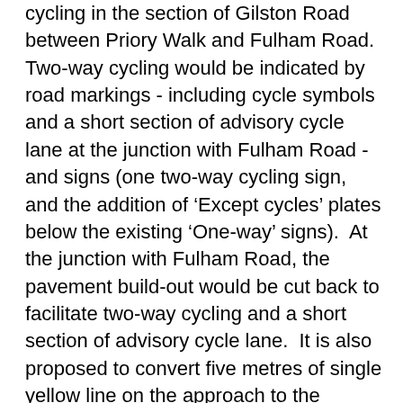cycling in the section of Gilston Road between Priory Walk and Fulham Road.  Two-way cycling would be indicated by road markings - including cycle symbols and a short section of advisory cycle lane at the junction with Fulham Road - and signs (one two-way cycling sign, and the addition of 'Except cycles' plates below the existing 'One-way' signs).  At the junction with Fulham Road, the pavement build-out would be cut back to facilitate two-way cycling and a short section of advisory cycle lane.  It is also proposed to convert five metres of single yellow line on the approach to the footway build out to double yellow lines to provide passing space close to the junction. On the existing section of two-way cycling on Gilston Road (between The Boltons and Priory Walk), the current mandatory left turn arrows for cyclists would be removed as they would no